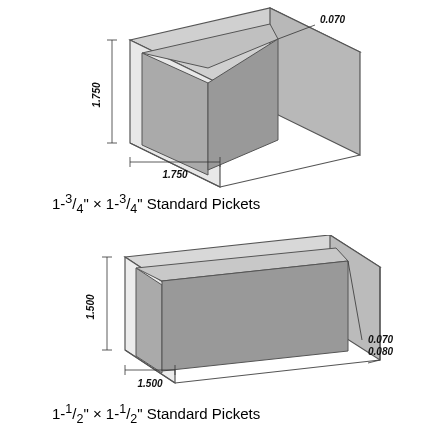[Figure (engineering-diagram): Technical drawing of a square hollow tube cross-section labeled 1-3/4 inch x 1-3/4 inch Standard Picket. Dimensions shown: 1.750 width, 1.750 height, 0.070 wall thickness.]
1-3/4" × 1-3/4" Standard Pickets
[Figure (engineering-diagram): Technical drawing of a square hollow tube cross-section labeled 1-1/2 inch x 1-1/2 inch Standard Picket. Dimensions shown: 1.500 width, 1.500 height, 0.070 and 0.080 wall thickness.]
1-1/2" × 1-1/2" Standard Pickets